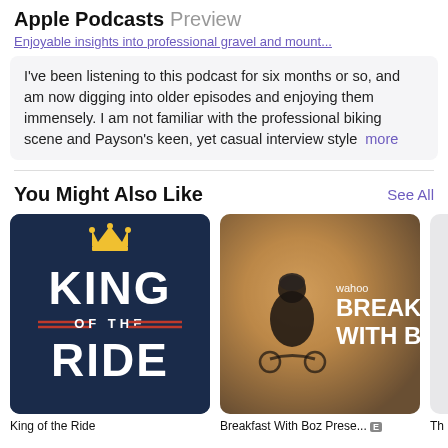Apple Podcasts Preview
Enjoyable insights into professional gravel and mount...
I've been listening to this podcast for six months or so, and am now digging into older episodes and enjoying them immensely. I am not familiar with the professional biking scene and Payson's keen, yet casual interview style  more
You Might Also Like
See All
[Figure (illustration): King of the Ride podcast cover art: dark navy background with a gold crown icon at top, large white bold text 'KING' and 'RIDE' with 'OF THE' in smaller text and decorative red double lines in the middle]
King of the Ride
[Figure (photo): Breakfast With Boz podcast cover art: a cyclist in dark clothing and helmet stands with a bike in a misty outdoor setting with warm golden light. White text reads 'wahoo' and 'BREAKFAST WITH BOZ']
Breakfast With Boz Prese... [E]